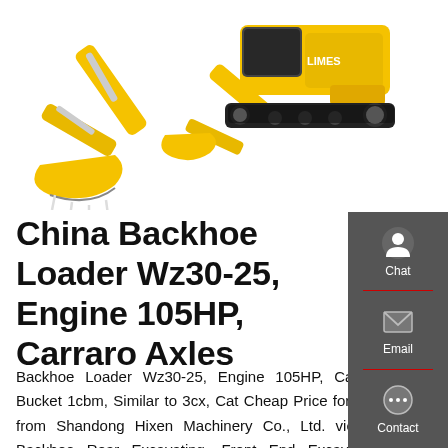[Figure (photo): Two yellow construction machines: a backhoe loader arm/bucket on the left and a crawler excavator on the right, photographed on white background.]
China Backhoe Loader Wz30-25, Engine 105HP, Carraro Axles
Backhoe Loader Wz30-25, Engine 105HP, Carraro Axles, Bucket 1cbm, Similar to 3cx, Cat Cheap Price for Sale picture from Shandong Hixen Machinery Co., Ltd. view photo of Backhoe Rear Excavating, Front End Excavating Wheel Loader, Excavator with Loader.Contact China Suppliers for More Products and Price.